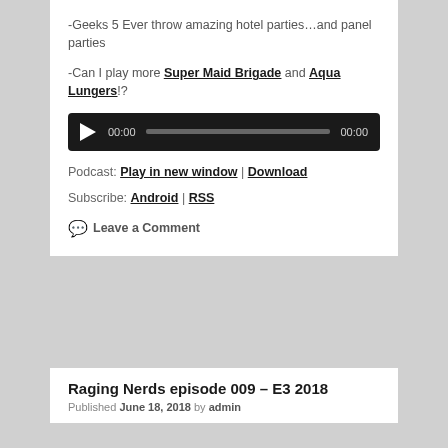-Geeks 5 Ever throw amazing hotel parties…and panel parties
-Can I play more Super Maid Brigade and Aqua Lungers!?
[Figure (other): Audio player with play button, time display 00:00, progress bar, and end time 00:00 on a dark background]
Podcast: Play in new window | Download
Subscribe: Android | RSS
Leave a Comment
Raging Nerds episode 009 – E3 2018
Published June 18, 2018 by admin